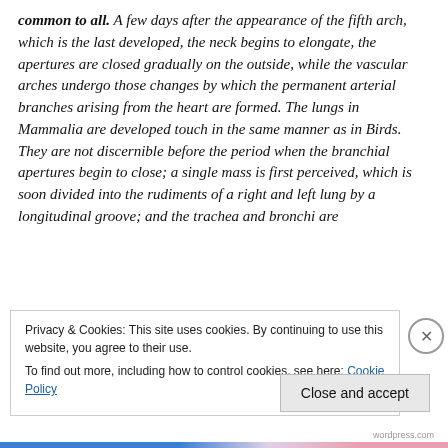common to all. A few days after the appearance of the fifth arch, which is the last developed, the neck begins to elongate, the apertures are closed gradually on the outside, while the vascular arches undergo those changes by which the permanent arterial branches arising from the heart are formed. The lungs in Mammalia are developed touch in the same manner as in Birds. They are not discernible before the period when the branchial apertures begin to close; a single mass is first perceived, which is soon divided into the rudiments of a right and left lung by a longitudinal groove; and the trachea and bronchi are
Privacy & Cookies: This site uses cookies. By continuing to use this website, you agree to their use.
To find out more, including how to control cookies, see here: Cookie Policy